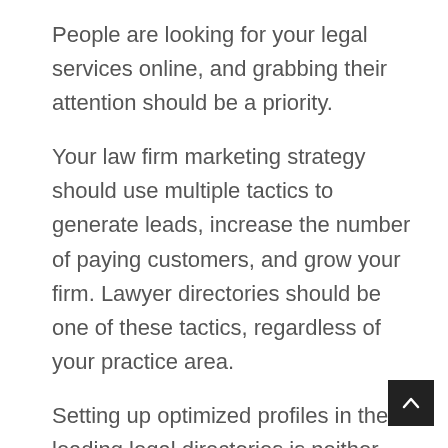People are looking for your legal services online, and grabbing their attention should be a priority.
Your law firm marketing strategy should use multiple tactics to generate leads, increase the number of paying customers, and grow your firm. Lawyer directories should be one of these tactics, regardless of your practice area.
Setting up optimized profiles in the leading legal directories is neither difficult nor costly. It takes less than an hour to